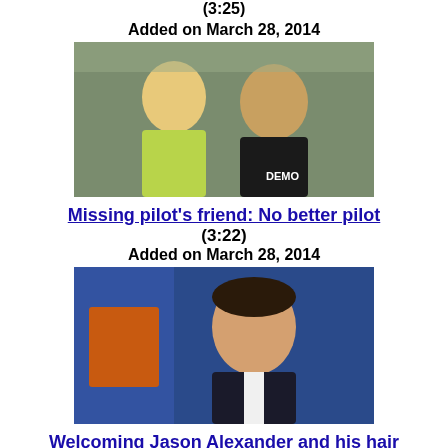Added on March 28, 2014
[Figure (photo): Two men posing together, one in yellow shirt, one in black shirt with DEMO text]
Missing pilot's friend: No better pilot (3:22) Added on March 28, 2014
[Figure (photo): Man in dark suit sitting in front of blue and orange background]
Welcoming Jason Alexander and his hair (1:59) Added on March 28, 2014
[Figure (photo): Vanessa's Ancestry infographic with a woman, showing ancestry breakdown: 23% Ghana, 17% British Isles, 15% Cameroon/Congo, 12% Finnish/Ural-Volga, 11% Southern European, 7% Togo, 6% Benin, 5% Senegal, 4% Spain/Portugal]
Vanessa Williams the Brit? Actually yes (2:29) Added on March 28, 2014
[Figure (photo): Man in dark suit sitting in front of blue and orange background (partial, bottom of page)]